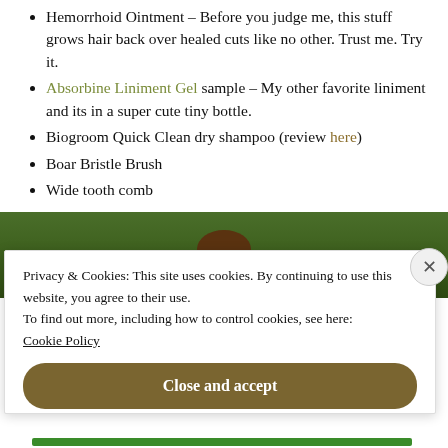Hemorrhoid Ointment – Before you judge me, this stuff grows hair back over healed cuts like no other. Trust me. Try it.
Absorbine Liniment Gel sample – My other favorite liniment and its in a super cute tiny bottle.
Biogroom Quick Clean dry shampoo (review here)
Boar Bristle Brush
Wide tooth comb
[Figure (photo): Partial photo of a dog or animal on green grass, partially obscured by a cookie consent modal overlay.]
Privacy & Cookies: This site uses cookies. By continuing to use this website, you agree to their use.
To find out more, including how to control cookies, see here: Cookie Policy
Close and accept